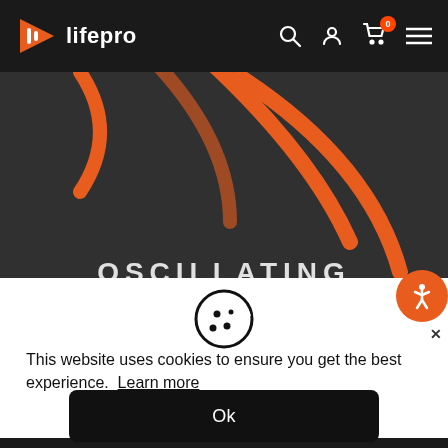[Figure (screenshot): Lifepro website navigation bar with logo (orange play button icon + text 'lifepro'), search icon, user icon, cart icon with badge '0', and hamburger menu icon on dark background]
[Figure (screenshot): Dark product hero image showing orange oscillating wave/sound graphics with the word 'OSCILLATING' in white text at the bottom]
[Figure (other): Cookie consent popup showing a cookie icon, text about website cookies, a 'Learn more' link, and an 'Ok' button]
This website uses cookies to ensure you get the best experience.  Learn more
[Figure (other): Orange accessibility icon button at right edge and close X below it]